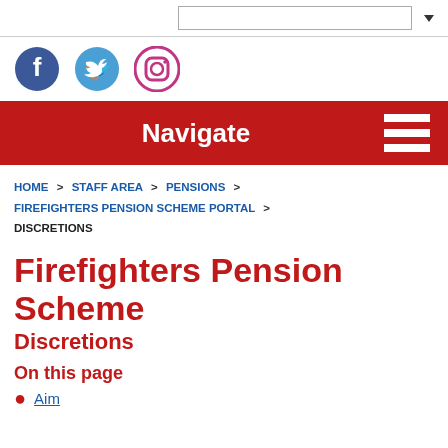[Figure (screenshot): Top bar with search box and dropdown arrow]
[Figure (illustration): Social media icons: Facebook (blue circle), Twitter (blue circle), Instagram (purple/pink circle with camera icon)]
Navigate
HOME > STAFF AREA > PENSIONS > FIREFIGHTERS PENSION SCHEME PORTAL > DISCRETIONS
Firefighters Pension Scheme
Discretions
On this page
Aim